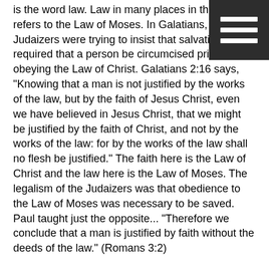[Figure (other): Dark square menu/hamburger icon with three horizontal white bars, positioned in top-right corner]
is the word law. Law in many places in the Bible refers to the Law of Moses. In Galatians, the Judaizers were trying to insist that salvation required that a person be circumcised prior to obeying the Law of Christ. Galatians 2:16 says, "Knowing that a man is not justified by the works of the law, but by the faith of Jesus Christ, even we have believed in Jesus Christ, that we might be justified by the faith of Christ, and not by the works of the law: for by the works of the law shall no flesh be justified." The faith here is the Law of Christ and the law here is the Law of Moses. The legalism of the Judaizers was that obedience to the Law of Moses was necessary to be saved. Paul taught just the opposite... "Therefore we conclude that a man is justified by faith without the deeds of the law." (Romans 3:2)
(Please, study Acts 15:1-11, here.)